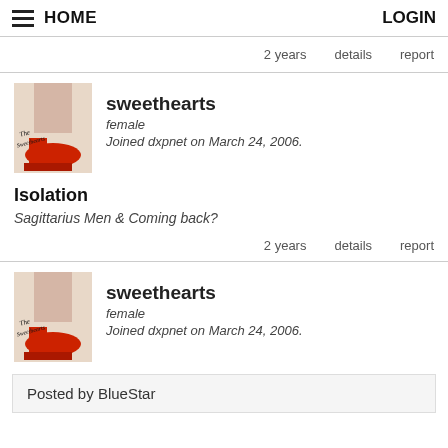HOME   LOGIN
2 years   details   report
sweethearts
female
Joined dxpnet on March 24, 2006.
Isolation
Sagittarius Men & Coming back?
2 years   details   report
sweethearts
female
Joined dxpnet on March 24, 2006.
Posted by BlueStar